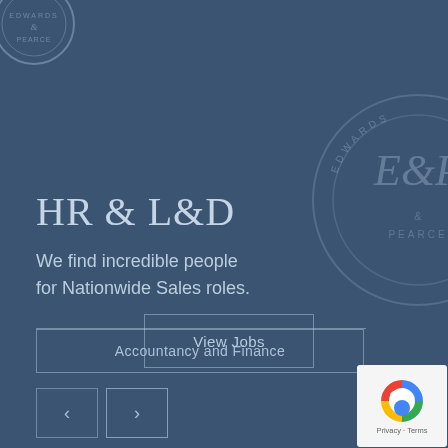[Figure (logo): Edwards & Pearce circular stamp logo top left, partially visible]
[Figure (logo): Edwards & Pearce large circular stamp watermark on right side, partially visible, showing E&P letters]
HR & L&D
We find incredible people for Nationwide Sales roles.
Accountancy and Finance
[Figure (other): Navigation previous button (<) and next button (>) as outlined squares]
View Jobs
[Figure (other): reCAPTCHA badge bottom right showing Privacy and Terms links]